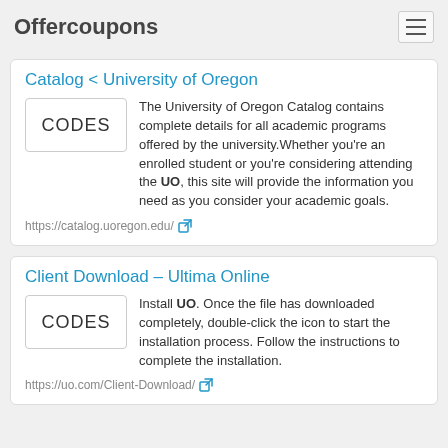Offercoupons
Catalog < University of Oregon
The University of Oregon Catalog contains complete details for all academic programs offered by the university. Whether you're an enrolled student or you're considering attending the UO, this site will provide the information you need as you consider your academic goals.
https://catalog.uoregon.edu/
Client Download – Ultima Online
Install UO. Once the file has downloaded completely, double-click the icon to start the installation process. Follow the instructions to complete the installation.
https://uo.com/Client-Download/